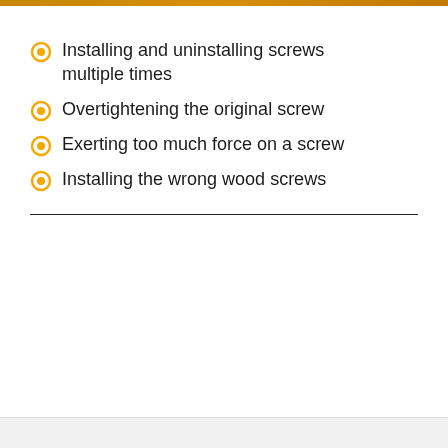Installing and uninstalling screws multiple times
Overtightening the original screw
Exerting too much force on a screw
Installing the wrong wood screws